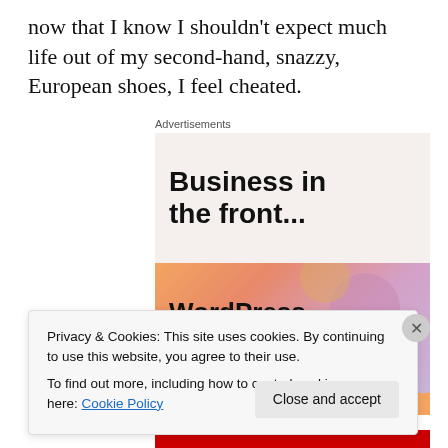now that I know I shouldn't expect much life out of my second-hand, snazzy, European shoes, I feel cheated.
Advertisements
[Figure (screenshot): Advertisement banner showing 'Business in the front...' on a light beige background on top, and 'WordPress in the back.' on an orange/pink gradient background on the bottom, with WordPress logo partially visible at the bottom.]
Privacy & Cookies: This site uses cookies. By continuing to use this website, you agree to their use.
To find out more, including how to control cookies, see here: Cookie Policy
Close and accept